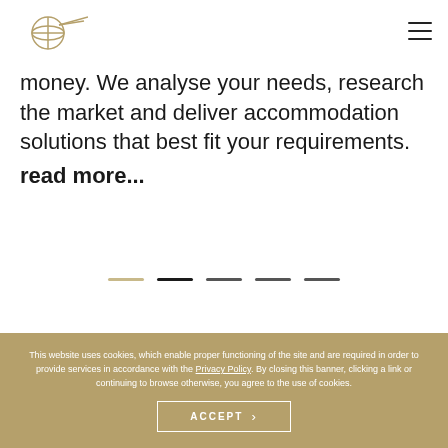[Figure (logo): Globe with arrow/wings logo in gold/olive color]
money. We analyse your needs, research the market and deliver accommodation solutions that best fit your requirements.
read more...
[Figure (other): Slider navigation dots: five horizontal dashes, alternating light and dark]
This website uses cookies, which enable proper functioning of the site and are required in order to provide services in accordance with the Privacy Policy. By closing this banner, clicking a link or continuing to browse otherwise, you agree to the use of cookies.
ACCEPT